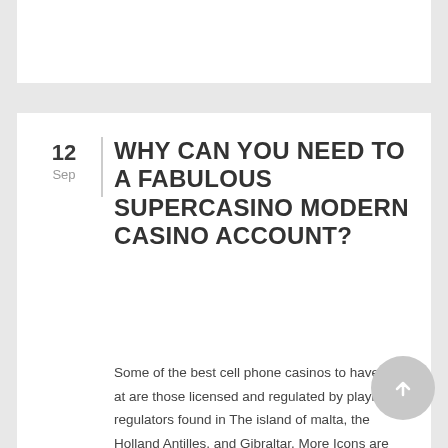WHY CAN YOU NEED TO A FABULOUS SUPERCASINO MODERN CASINO ACCOUNT?
Some of the best cell phone casinos to have fun at are those licensed and regulated by playing regulators found in The island of malta, the Holland Antilles, and Gibraltar. More Icons are extra